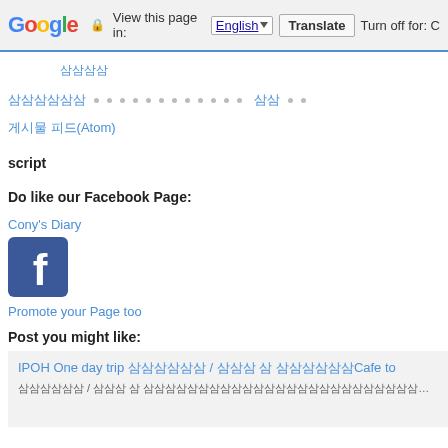Google | View this page in: English | Translate | Turn off for: C
삼삼삼삼
삼삼삼삼삼삼 • • • • • • • • • • • • • 삼삼 • •
게시물 피드(Atom)
script
Do like our Facebook Page:
Cony's Diary
[Figure (logo): Facebook logo blue square icon with white 'f' letter]
Promote your Page too
Post you might like:
IPOH One day trip 삼삼삼삼삼삼 / 삼삼삼 삼 삼삼삼삼삼삼Cafe to
삼삼삼삼삼삼 / 삼삼삼 삼 삼삼삼삼삼삼삼삼삼삼삼삼삼삼삼삼삼삼삼삼삼삼삼삼삼삼삼삼삼삼삼삼삼삼삼삼삼삼삼삼삼삼삼삼삼삼삼삼삼삼삼삼삼삼삼삼삼삼삼삼삼삼삼삼삼삼삼